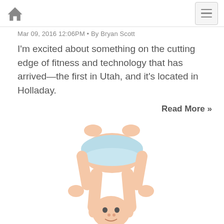Home | Menu
Mar 09, 2016 12:06PM • By Bryan Scott
I'm excited about something on the cutting edge of fitness and technology that has arrived—the first in Utah, and it's located in Holladay.
Read More »
[Figure (photo): A baby in a diaper bending over with head touching the ground, viewed from side, white background]